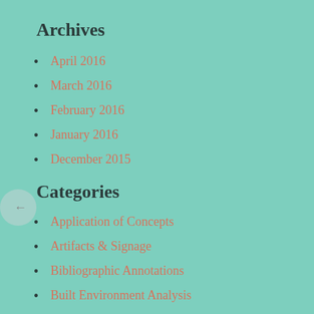Archives
April 2016
March 2016
February 2016
January 2016
December 2015
Categories
Application of Concepts
Artifacts & Signage
Bibliographic Annotations
Built Environment Analysis
Built Environment Descriptions